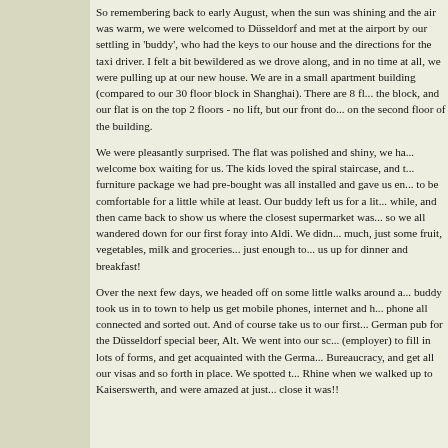So remembering back to early August, when the sun was shining and the air was warm, we were welcomed to Düsseldorf and met at the airport by our settling in 'buddy', who had the keys to our house and the directions for the taxi driver. I felt a bit bewildered as we drove along, and in no time at all, we were pulling up at our new house. We are in a small apartment building (compared to our 30 floor block in Shanghai). There are 8 flats in the block, and our flat is on the top 2 floors - no lift, but our front door is on the second floor of the building.
We were pleasantly surprised. The flat was polished and shiny, we had a welcome box waiting for us. The kids loved the spiral staircase, and the furniture package we had pre-bought was all installed and gave us enough to be comfortable for a little while at least. Our buddy left us for a little while, and then came back to show us where the closest supermarket was... so we all wandered down for our first foray into Aldi. We didn't buy much, just some fruit, vegetables, milk and groceries... just enough to set us up for dinner and breakfast!
Over the next few days, we headed off on some little walks around and our buddy took us in to town to help us get mobile phones, internet and home phone all connected and sorted out. And of course take us to our first real German pub for the Düsseldorf special beer, Alt. We went into our school (employer) to fill in lots of forms, and get acquainted with the German Bureaucracy, and get all our visas and so forth in place. We spotted the Rhine when we walked up to Kaiserswerth, and were amazed at just how close it was!!